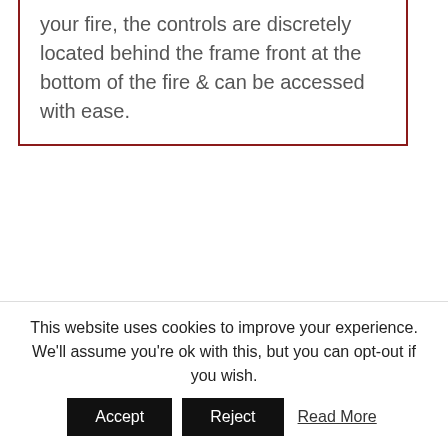your fire, the controls are discretely located behind the frame front at the bottom of the fire & can be accessed with ease.
Slide Control
Gazco’s new innovative slide system has a subtly designed,
[Figure (photo): Circular photo of a silver slide control mechanism against a light beige/dark background]
This website uses cookies to improve your experience. We’ll assume you’re ok with this, but you can opt-out if you wish.